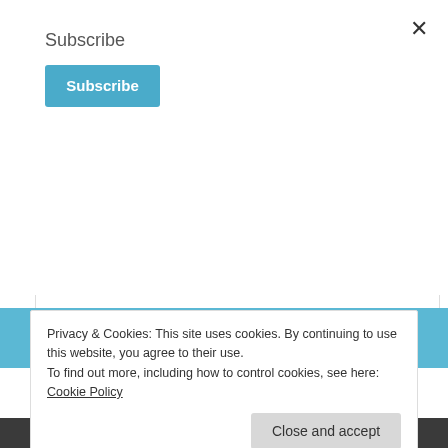Subscribe
Subscribe
Loves, Framed Decor
By P Graham Dunn Inc.
Farmhouse Collection of framed wall art pairs natural stained pine frames with artisan typography, artfully detailed with
Privacy & Cookies: This site uses cookies. By continuing to use this website, you agree to their use.
To find out more, including how to control cookies, see here: Cookie Policy
Close and accept